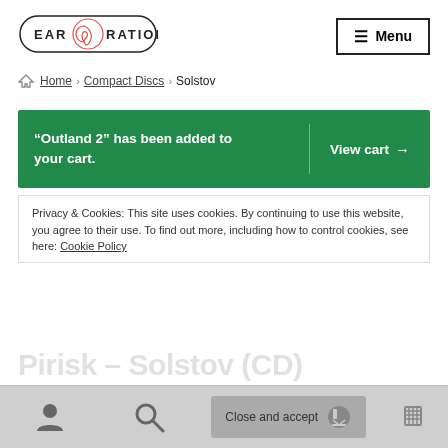[Figure (logo): Ear Rational logo with ear icon in oval border]
≡ Menu
🏠 Home › Compact Discs › Solstov
"Outland 2" has been added to your cart. View cart →
Privacy & Cookies: This site uses cookies. By continuing to use this website, you agree to their use. To find out more, including how to control cookies, see here: Cookie Policy
Pirisk – Solstov (CD)
Close and accept